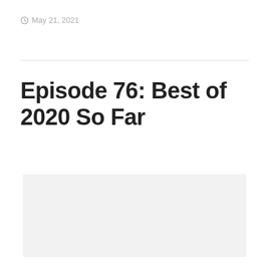May 21, 2021
Episode 76: Best of 2020 So Far
[Figure (other): Light gray placeholder rectangle, likely an embedded media player or image area]